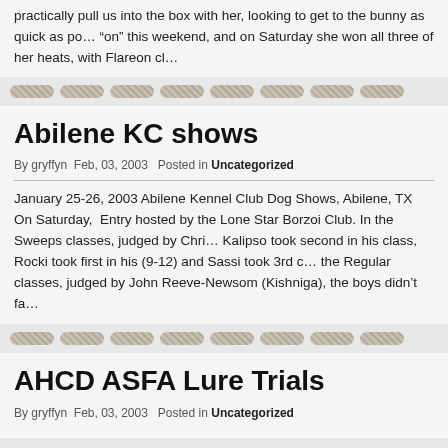practically pull us into the box with her, looking to get to the bunny as quick as possible. She was definitely "on" this weekend, and on Saturday she won all three of her heats, with Flareon cl
[Figure (other): Decorative divider row of textured oval/pill shapes]
Abilene KC shows
By gryffyn  Feb, 03, 2003   Posted in Uncategorized
January 25-26, 2003 Abilene Kennel Club Dog Shows, Abilene, TX On Saturday, Entry hosted by the Lone Star Borzoi Club. In the Sweeps classes, judged by Chri Kalipso took second in his class, Rocki took first in his (9-12) and Sassi took 3rd c the Regular classes, judged by John Reeve-Newsom (Kishniga), the boys didn't fa
[Figure (other): Decorative divider row of textured oval/pill shapes]
AHCD ASFA Lure Trials
By gryffyn  Feb, 03, 2003   Posted in Uncategorized